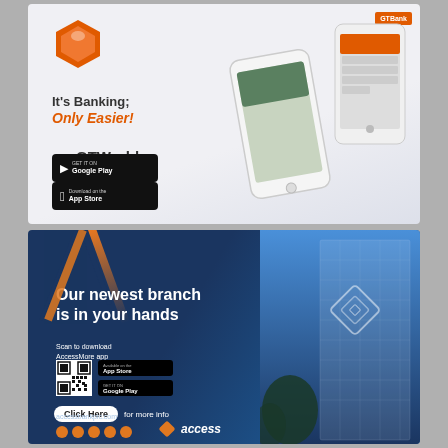[Figure (illustration): GTWorld banking app advertisement. Orange hexagonal app icon, two smartphones showing banking app UI, Google Play and App Store download buttons. GTBank logo in corner.]
GTWorld
It's Banking; Only Easier!
[Figure (illustration): Access Bank advertisement with dark blue background, diagonal orange stripe, smartphone with building reflection, QR code, app store buttons, 'Our newest branch is in your hands' headline, Click Here button, accessbankplc.com URL, Access bank logo and social icons.]
Our newest branch is in your hands
Scan to download AccessMore app
Click Here for more info
accessbankplc.com